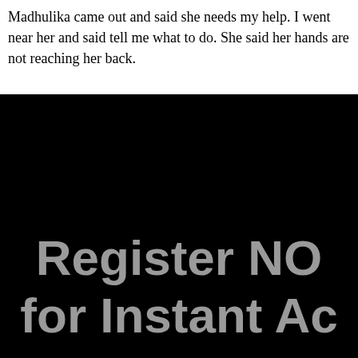Madhulika came out and said she needs my help. I went near her and said tell me what to do. She said her hands are not reaching her back.
[Figure (other): Black banner overlay with large gray bold text reading 'Register NO' on the first line and 'for Instant Ac' on the second line, partially cropped on the right side — a call-to-action advertisement overlay.]